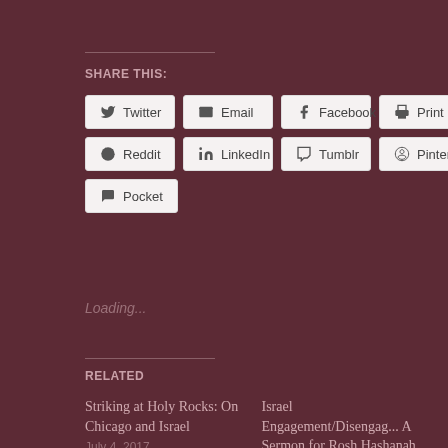SHARE THIS:
Twitter
Email
Facebook
Print
Reddit
LinkedIn
Tumblr
Pinterest
Pocket
Loading...
RELATED
Striking at Holy Rocks: On Chicago and Israel
July 4, 2017
In "fatih"
Israel Engagement/Disengag... A Sermon for Rosh Hashanah 5771
September 15, 2010
In "Israel"